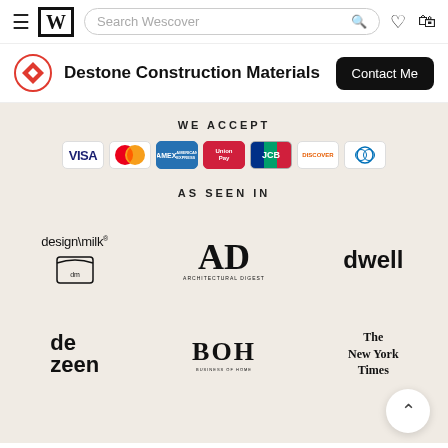Wescover navigation bar with search, hamburger menu, logo, wishlist and cart icons
Destone Construction Materials
Contact Me
WE ACCEPT
[Figure (infographic): Payment method icons: VISA, Mastercard, American Express, UnionPay, JCB, Discover, Diners Club]
AS SEEN IN
[Figure (logo): design\milk logo with milk carton icon]
[Figure (logo): AD Architectural Digest logo]
[Figure (logo): dwell magazine logo]
[Figure (logo): dezeen logo]
[Figure (logo): BOH Business of Home logo]
[Figure (logo): The New York Times logo]